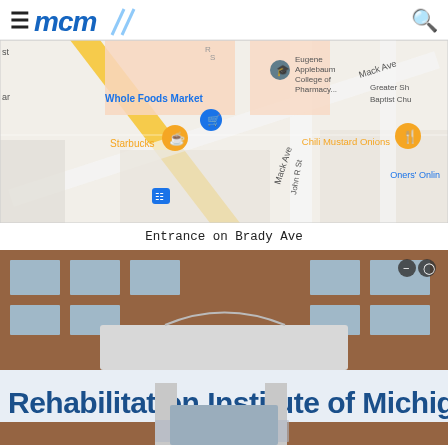≡ mcm [logo] 🔍
[Figure (map): Google Maps screenshot showing area around Mack Ave and John R St in Detroit, featuring Whole Foods Market, Starbucks, Eugene Applebaum College of Pharmacy, Chili Mustard Onions, and Oners' Online labels.]
Entrance on Brady Ave
[Figure (photo): Exterior photo of Rehabilitation Institute of Michigan building showing brick facade, canopy entrance, columns, and large sign reading 'Rehabilitation Institute of Michigan']